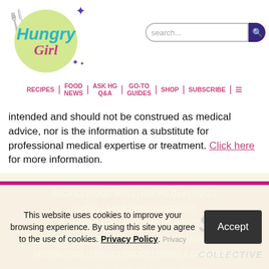Hungry Girl - navigation header with logo, search bar, and nav links: RECIPES | FOOD NEWS | ASK HG Q&A | GO-TO GUIDES | SHOP | SUBSCRIBE
intended and should not be construed as medical advice, nor is the information a substitute for professional medical expertise or treatment. Click here for more information.
RECIPES | FOOD NEWS | ASK HG Q&A | GO-TO GUIDES | SHOP | VIDEO | PODCAST SUBSCRIBE | ALL ABOUT HG | CONTACT US UNSUBSCRIBE | HOME | EDITORIAL POLICY | ADVERTISING INFORMATION | PRIVACY POLICY | TERMS & CONDITIONS Copyright © 2022 Hungry Girl. All Rights Reserved.
This website uses cookies to improve your browsing experience. By using this site you agree to the use of cookies. Privacy Policy